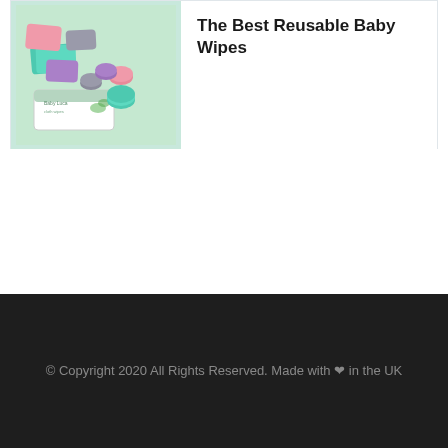[Figure (photo): Product image of colorful reusable baby wipes in pink, teal, purple and gray colors, rolled and stacked with a Baby Luca branded box on a white/green background]
The Best Reusable Baby Wipes
© Copyright 2020 All Rights Reserved. Made with ❤ in the UK